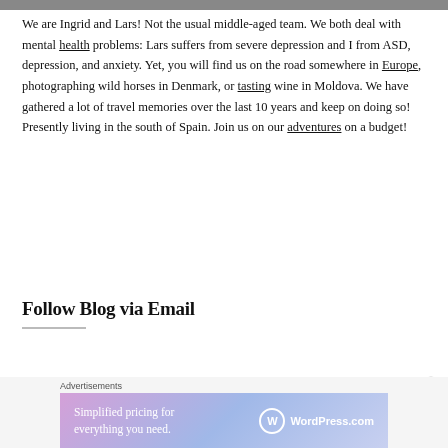[Figure (photo): Partial top strip of an image, cropped at top of page]
We are Ingrid and Lars! Not the usual middle-aged team. We both deal with mental health problems: Lars suffers from severe depression and I from ASD, depression, and anxiety. Yet, you will find us on the road somewhere in Europe, photographing wild horses in Denmark, or tasting wine in Moldova. We have gathered a lot of travel memories over the last 10 years and keep on doing so! Presently living in the south of Spain. Join us on our adventures on a budget!
Follow Blog via Email
Advertisements
[Figure (screenshot): WordPress.com advertisement banner: 'Simplified pricing for everything you need.' with WordPress.com logo on gradient purple-blue background]